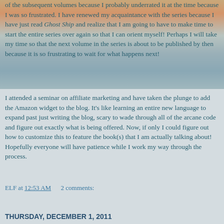of the subsequent volumes because I probably underrated it at the time because I was so frustrated.  I have renewed my acquaintance with the series because I have just read Ghost Ship and realize that I am going to have to make time to start the entire series over again so that I can orient myself!  Perhaps I will take my time so that the next volume in the series is about to be published by then because it is so frustrating to wait for what happens next!
I attended a seminar on affiliate marketing and have taken the plunge to add the Amazon widget to the blog.  It's like learning an entire new language to expand past just writing the blog, scary to wade through all of the arcane code and figure out exactly what is being offered.  Now, if only I could figure out how to customize this to feature the book(s) that I am actually talking about!  Hopefully everyone will have patience while I work my way through the process.
ELF at 12:53 AM    2 comments:
Share
THURSDAY, DECEMBER 1, 2011